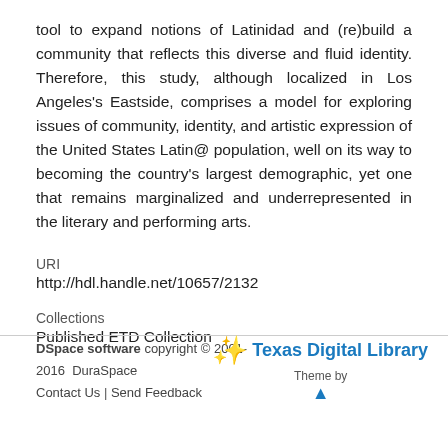tool to expand notions of Latinidad and (re)build a community that reflects this diverse and fluid identity. Therefore, this study, although localized in Los Angeles's Eastside, comprises a model for exploring issues of community, identity, and artistic expression of the United States Latin@ population, well on its way to becoming the country's largest demographic, yet one that remains marginalized and underrepresented in the literary and performing arts.
URI
http://hdl.handle.net/10657/2132
Collections
Published ETD Collection
DSpace software copyright © 2001-2016  DuraSpace  Contact Us | Send Feedback  Theme by Texas Digital Library